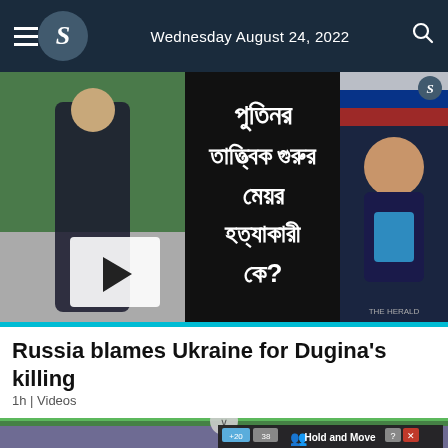Wednesday August 24, 2022
[Figure (screenshot): News video thumbnail showing Bengali text about Putin's ideologue daughter's killer, with images of a young woman and a news anchor on the right.]
Russia blames Ukraine for Dugina's killing
1h | Videos
[Figure (screenshot): Bottom partial image of a landscape scene with a Hold and Move advertisement overlay at the bottom right.]